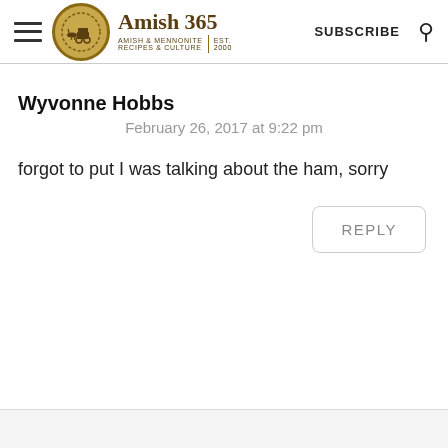Amish 365 | AMISH & MENNONITE RECIPES & CULTURE | EST. 2000 | SUBSCRIBE
Wyvonne Hobbs
February 26, 2017 at 9:22 pm
forgot to put I was talking about the ham, sorry
REPLY